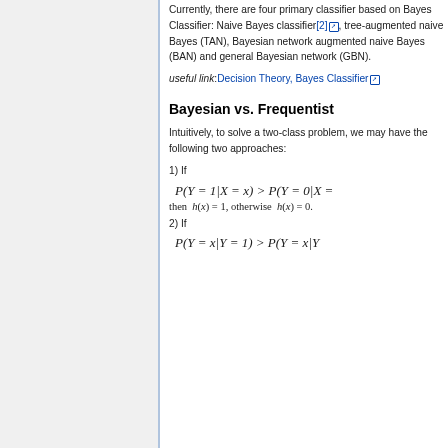Currently, there are four primary classifier based on Bayes Classifier: Naive Bayes classifier[2], tree-augmented naive Bayes (TAN), Bayesian network augmented naive Bayes (BAN) and general Bayesian network (GBN).
useful link: Decision Theory, Bayes Classifier
Bayesian vs. Frequentist
Intuitively, to solve a two-class problem, we may have the following two approaches:
1) If P(Y=1|X=x) > P(Y=0|X= then h(x)=1, otherwise h(x)=0.
2) If P(Y=x|Y=1) > P(Y=x|Y=